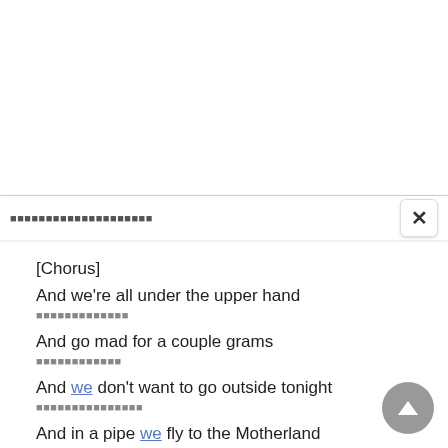[redacted foreign text]
[Chorus]
And we're all under the upper hand
[translated text]
And go mad for a couple grams
[translated text]
And we don't want to go outside tonight
[translated text]
And in a pipe we fly to the Motherland
[translated text]
Or sell love to another man
[translated text]